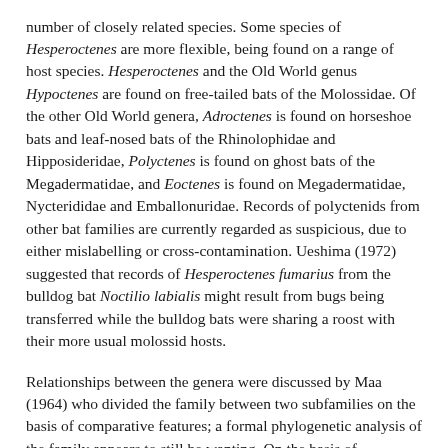number of closely related species. Some species of Hesperoctenes are more flexible, being found on a range of host species. Hesperoctenes and the Old World genus Hypoctenes are found on free-tailed bats of the Molossidae. Of the other Old World genera, Adroctenes is found on horseshoe bats and leaf-nosed bats of the Rhinolophidae and Hipposideridae, Polyctenes is found on ghost bats of the Megadermatidae, and Eoctenes is found on Megadermatidae, Nycterididae and Emballonuridae. Records of polyctenids from other bat families are currently regarded as suspicious, due to either mislabelling or cross-contamination. Ueshima (1972) suggested that records of Hesperoctenes fumarius from the bulldog bat Noctilio labialis might result from bugs being transferred while the bulldog bats were sharing a roost with their more usual molossid hosts.
Relationships between the genera were discussed by Maa (1964) who divided the family between two subfamilies on the basis of comparative features; a formal phylogenetic analysis of the family appears to still be wanting. On the basis of Hesperoctenes being the 'most specialised' genus